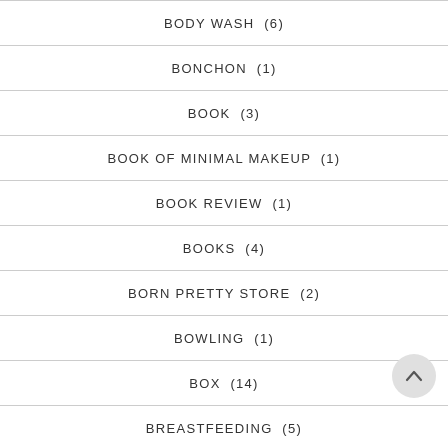BODY WASH (6)
BONCHON (1)
BOOK (3)
BOOK OF MINIMAL MAKEUP (1)
BOOK REVIEW (1)
BOOKS (4)
BORN PRETTY STORE (2)
BOWLING (1)
BOX (14)
BREASTFEEDING (5)